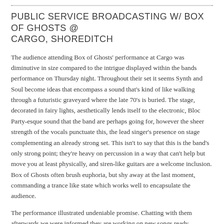PUBLIC SERVICE BROADCASTING W/ BOX OF GHOSTS @ CARGO, SHOREDITCH
The audience attending Box of Ghosts' performance at Cargo was diminutive in size compared to the intrigue displayed within the bands performance on Thursday night. Throughout their set it seems Synth and Soul become ideas that encompass a sound that's kind of like walking through a futuristic graveyard where the late 70's is buried. The stage, decorated in fairy lights, aesthetically lends itself to the electronic, Bloc Party-esque sound that the band are perhaps going for, however the sheer strength of the vocals punctuate this, the lead singer's presence on stage complementing an already strong set. This isn't to say that this is the band's only strong point; they're heavy on percussion in a way that can't help but move you at least physically, and siren-like guitars are a welcome inclusion. Box of Ghosts often brush euphoria, but shy away at the last moment, commanding a trance like state which works well to encapsulate the audience.
The performance illustrated undeniable promise. Chatting with them afterwards we were informed they are working on new songs ready